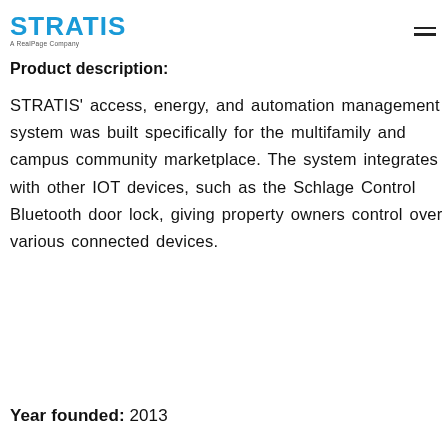STRATIS — A RealPage Company (logo) with hamburger menu
Product description:
STRATIS' access, energy, and automation management system was built specifically for the multifamily and campus community marketplace. The system integrates with other IOT devices, such as the Schlage Control Bluetooth door lock, giving property owners control over various connected devices.
Year founded: 2013